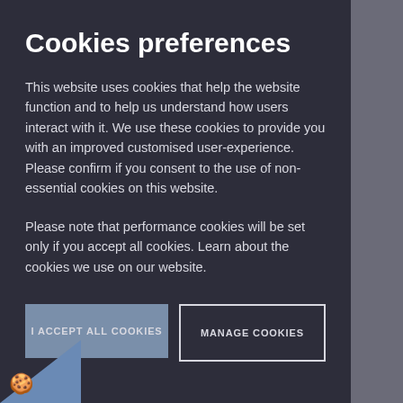Cookies preferences
This website uses cookies that help the website function and to help us understand how users interact with it. We use these cookies to provide you with an improved customised user-experience. Please confirm if you consent to the use of non-essential cookies on this website.
Please note that performance cookies will be set only if you accept all cookies. Learn about the cookies we use on our website.
I ACCEPT ALL COOKIES
MANAGE COOKIES